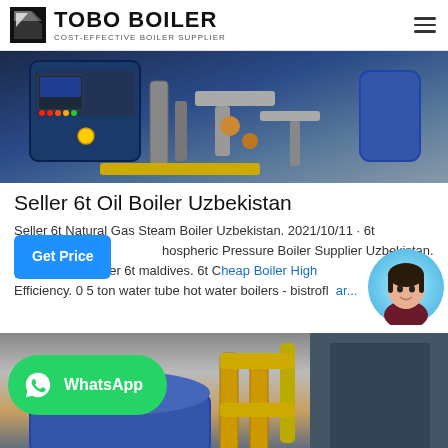TOBO BOILER — COST-EFFECTIVE BOILER SUPPLIER
[Figure (photo): Industrial boiler equipment — blue gas/oil boiler unit with control panel, piping, and auxiliary equipment in an industrial setting.]
Seller 6t Oil Boiler Uzbekistan
Seller 6t Natural Gas Steam Boiler Uzbekistan. 2021/10/11 · 6t hospheric Pressure Boiler Supplier Uzbekistan. gh efficiency seller 6t maldives. 6t Cheap Boiler High Efficiency. 0 5 ton water tube hot water boilers - bistrofl ar...
[Figure (photo): Industrial boiler room with large blue cylindrical boiler tank and yellow piping infrastructure.]